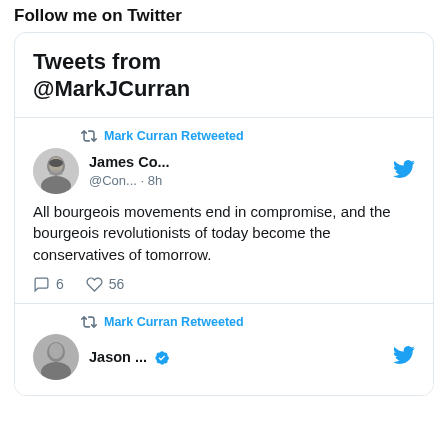Follow me on Twitter
Tweets from @MarkJCurran
Mark Curran Retweeted
James Co... @Con... · 8h
All bourgeois movements end in compromise, and the bourgeois revolutionists of today become the conservatives of tomorrow.
6  56
Mark Curran Retweeted
Jason ...